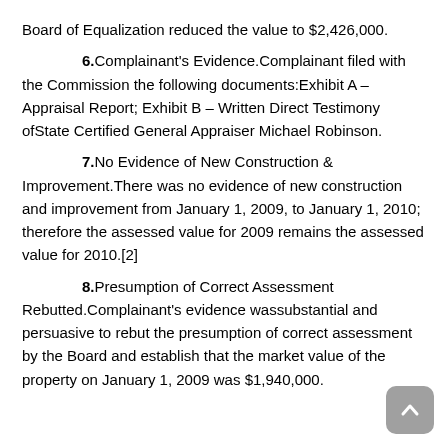Board of Equalization reduced the value to $2,426,000.
6.Complainant's Evidence.Complainant filed with the Commission the following documents:Exhibit A – Appraisal Report; Exhibit B – Written Direct Testimony ofState Certified General Appraiser Michael Robinson.
7.No Evidence of New Construction & Improvement.There was no evidence of new construction and improvement from January 1, 2009, to January 1, 2010; therefore the assessed value for 2009 remains the assessed value for 2010.[2]
8.Presumption of Correct Assessment Rebutted.Complainant's evidence wassubstantial and persuasive to rebut the presumption of correct assessment by the Board and establish that the market value of the property on January 1, 2009 was $1,940,000.